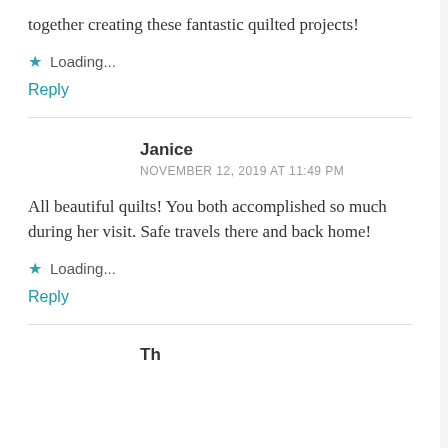together creating these fantastic quilted projects!
⭐ Loading...
Reply
Janice
NOVEMBER 12, 2019 AT 11:49 PM
All beautiful quilts! You both accomplished so much during her visit. Safe travels there and back home!
⭐ Loading...
Reply